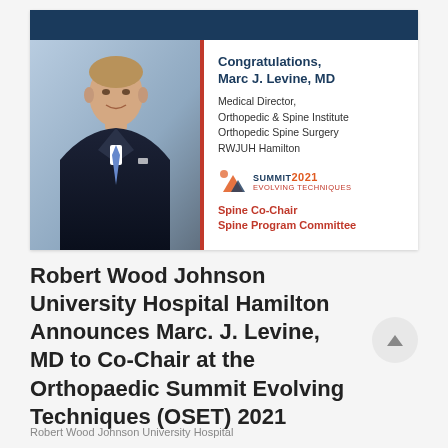[Figure (photo): Professional headshot of Marc J. Levine, MD, wearing a dark suit and blue tie, against a light blue background. A congratulations announcement card with a blue header bar is visible.]
Congratulations, Marc J. Levine, MD
Medical Director,
Orthopedic & Spine Institute
Orthopedic Spine Surgery
RWJUH Hamilton
Spine Co-Chair
Spine Program Committee
Robert Wood Johnson University Hospital Hamilton Announces Marc. J. Levine, MD to Co-Chair at the Orthopaedic Summit Evolving Techniques (OSET) 2021
Robert Wood Johnson University Hospital